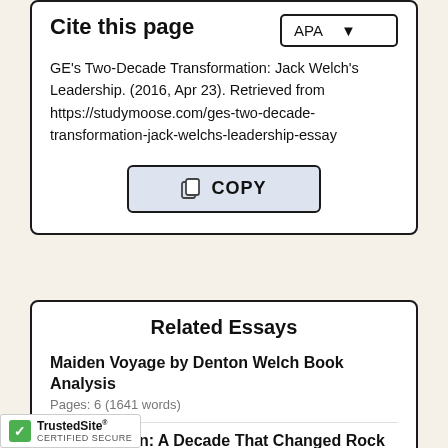Cite this page
GE's Two-Decade Transformation: Jack Welch's Leadership. (2016, Apr 23). Retrieved from https://studymoose.com/ges-two-decade-transformation-jack-welchs-leadership-essay
Related Essays
Maiden Voyage by Denton Welch Book Analysis
Pages: 6 (1641 words)
Led Zeppelin: A Decade That Changed Rock Music
(3212 words)